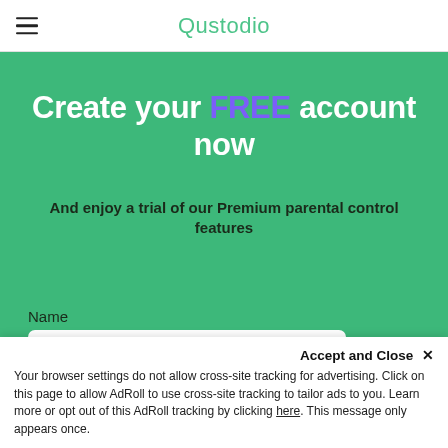Qustodio
Create your FREE account now
And enjoy a trial of our Premium parental control features
Name
Email
Accept and Close ✕
Your browser settings do not allow cross-site tracking for advertising. Click on this page to allow AdRoll to use cross-site tracking to tailor ads to you. Learn more or opt out of this AdRoll tracking by clicking here. This message only appears once.